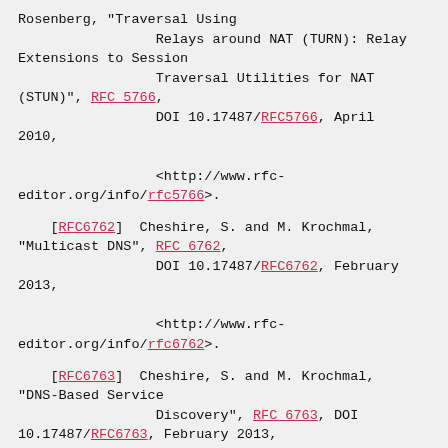Rosenberg, "Traversal Using Relays around NAT (TURN): Relay Extensions to Session Traversal Utilities for NAT (STUN)", RFC 5766, DOI 10.17487/RFC5766, April 2010, <http://www.rfc-editor.org/info/rfc5766>.
[RFC6762]  Cheshire, S. and M. Krochmal, "Multicast DNS", RFC 6762, DOI 10.17487/RFC6762, February 2013, <http://www.rfc-editor.org/info/rfc6762>.
[RFC6763]  Cheshire, S. and M. Krochmal, "DNS-Based Service Discovery", RFC 6763, DOI 10.17487/RFC6763, February 2013, <http://www.rfc-editor.org/info/rfc6763>.